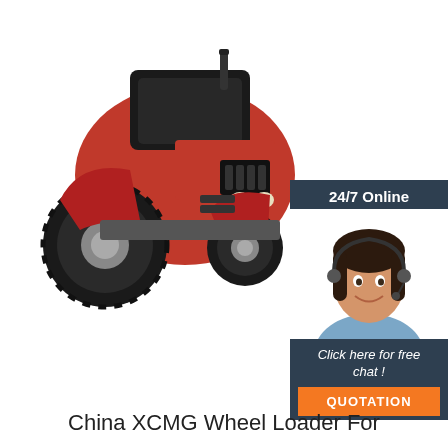[Figure (photo): Red XCMG tractor/wheel loader on white background, viewed from front-left angle, with large black tires and enclosed cab]
[Figure (infographic): Customer service chat widget: dark blue box with '24/7 Online' header, photo of smiling woman with headset, text 'Click here for free chat!', orange 'QUOTATION' button]
China XCMG Wheel Loader For